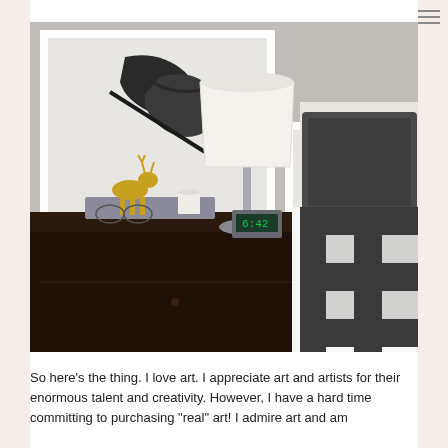[Figure (photo): Interior bedroom photo showing a dark wood nightstand with a lamp, gold deer figurine, white candle, and digital clock on top. A black and white buffalo check pillow and dark charcoal pillow are visible on the bed to the right. A framed abstract artwork hangs on the grey wall in the background.]
So here’s the thing. I love art. I appreciate art and artists for their enormous talent and creativity. However, I have a hard time committing to purchasing “real” art! I admire art and am